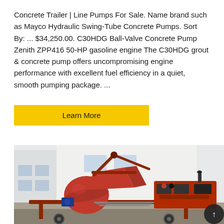Concrete Trailer | Line Pumps For Sale. Name brand such as Mayco Hydraulic Swing-Tube Concrete Pumps. Sort By: ... $34,250.00. C30HDG Ball-Valve Concrete Pump Zenith ZPP416 50-HP gasoline engine The C30HDG grout & concrete pump offers uncompromising engine performance with excellent fuel efficiency in a quiet, smooth pumping package. ...
Learn More
[Figure (photo): A red concrete trailer pump with a large mixing drum hopper on a wheeled frame, with a hydraulic power unit on the right side, parked in front of a white commercial building outdoors.]